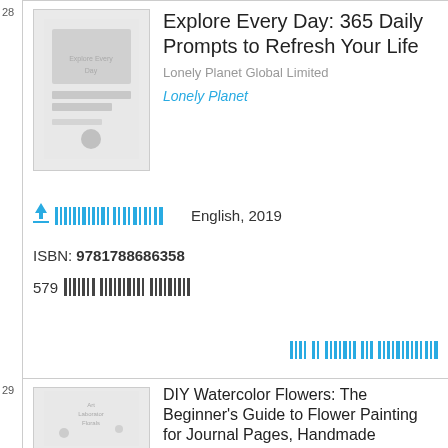28
[Figure (illustration): Book thumbnail/cover placeholder for Explore Every Day: 365 Daily Prompts to Refresh Your Life]
Explore Every Day: 365 Daily Prompts to Refresh Your Life
Lonely Planet Global Limited
Lonely Planet
[Figure (other): Upload/barcode icon in cyan]
English, 2019
ISBN: 9781788686358
579 [barcode icons]
[Figure (other): Cyan barcode pattern bottom right]
29
[Figure (illustration): Book thumbnail/cover placeholder for DIY Watercolor Flowers]
DIY Watercolor Flowers: The Beginner's Guide to Flower Painting for Journal Pages, Handmade Stationery and More